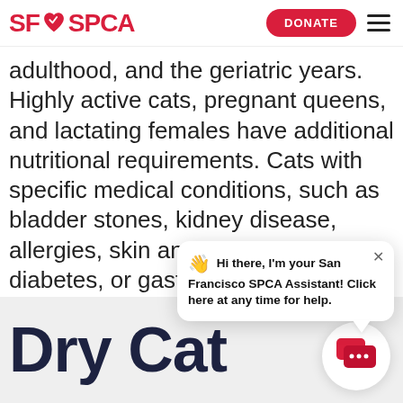SF SPCA — DONATE button and hamburger menu
adulthood, and the geriatric years. Highly active cats, pregnant queens, and lactating females have additional nutritional requirements. Cats with specific medical conditions, such as bladder stones, kidney disease, allergies, skin and coat problems, diabetes, or gastrointestinal disorders, may benefit from speci[alized diets] that are available t[hrough your vet]
👋 Hi there, I'm your San Francisco SPCA Assistant! Click here at any time for help.
Dry Cat